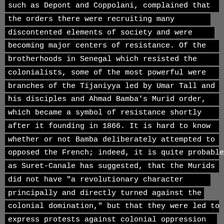such as Depont and Coppolani, complained that the orders there were recruiting many discontented elements of society and were becoming major centers of resistance. Of the brotherhoods in Senegal which resisted the colonialists, some of the most powerful were branches of the Tijaniyya led by Umar Tall and his disciples and Ahmad Bamba's Murid order, which became a symbol of resistance shortly after it founding in 1866. It is hard to know whether or not Bamba deliberately attempted to opposed the French; indeed, it is quite probable, as Suret-Canale has suggested, that the Murids did not have "a revolutionary character principally and directly turned against the colonial domination," but that they were led to express protests against colonial oppression only to the extent that the colonial regime oppressed them. It makes little difference in this